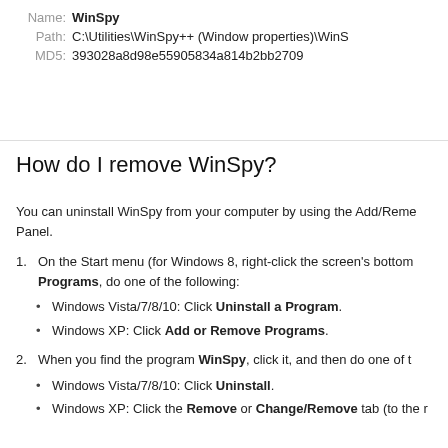Name: WinSpy
Path: C:\Utilities\WinSpy++ (Window properties)\WinS
MD5: 393028a8d98e55905834a814b2bb2709
How do I remove WinSpy?
You can uninstall WinSpy from your computer by using the Add/Remove Programs feature in Control Panel.
On the Start menu (for Windows 8, right-click the screen's bottom-left corner), click Control Panel, and then, under Programs, do one of the following:
Windows Vista/7/8/10: Click Uninstall a Program.
Windows XP: Click Add or Remove Programs.
When you find the program WinSpy, click it, and then do one of the following:
Windows Vista/7/8/10: Click Uninstall.
Windows XP: Click the Remove or Change/Remove tab (to the right of the program).